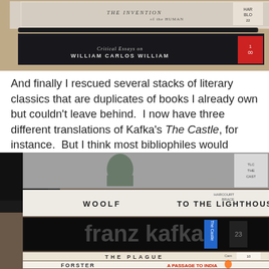[Figure (photo): Stack of books photographed from above, showing spines including 'The Invention of the Human' by Harold Bloom and 'Critical Essays on William Carlos Williams']
And finally I rescued several stacks of literary classics that are duplicates of books I already own but couldn't leave behind.  I now have three different translations of Kafka's The Castle, for instance.  But I think most bibliophiles would agree that one can never have too much Kafka.
[Figure (photo): Stack of literary classic books photographed showing spines: Franz Kafka (The Castle), Woolf To the Lighthouse (Harcourt Brace), The Plague (Camus), Forster A Passage to India, and another Kafka volume at bottom]